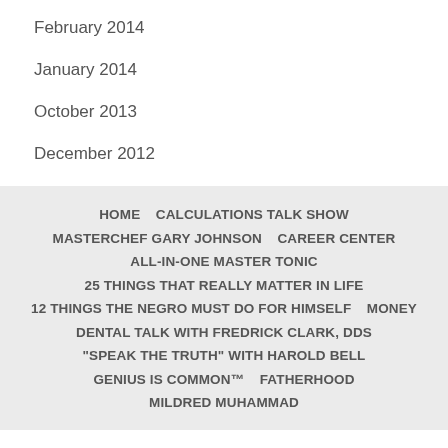February 2014
January 2014
October 2013
December 2012
HOME   CALCULATIONS TALK SHOW   MASTERCHEF GARY JOHNSON   CAREER CENTER   ALL-IN-ONE MASTER TONIC   25 THINGS THAT REALLY MATTER IN LIFE   12 THINGS THE NEGRO MUST DO FOR HIMSELF   MONEY   DENTAL TALK WITH FREDRICK CLARK, DDS   "SPEAK THE TRUTH" WITH HAROLD BELL   GENIUS IS COMMON™   FATHERHOOD   MILDRED MUHAMMAD